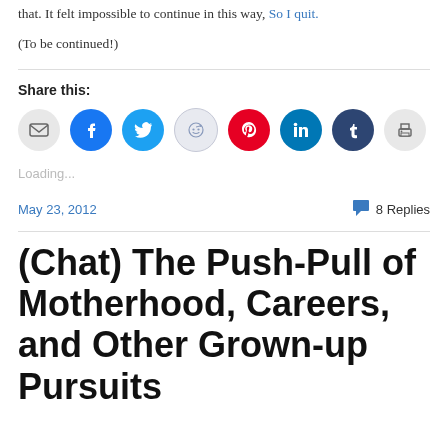that. It felt impossible to continue in this way, So I quit.
(To be continued!)
Share this:
[Figure (infographic): Row of social sharing icon buttons: email (grey), Facebook (blue), Twitter (light blue), Reddit (light grey), Pinterest (red), LinkedIn (dark blue), Tumblr (dark navy), Print (grey)]
Loading...
May 23, 2012   💬 8 Replies
(Chat) The Push-Pull of Motherhood, Careers, and Other Grown-up Pursuits